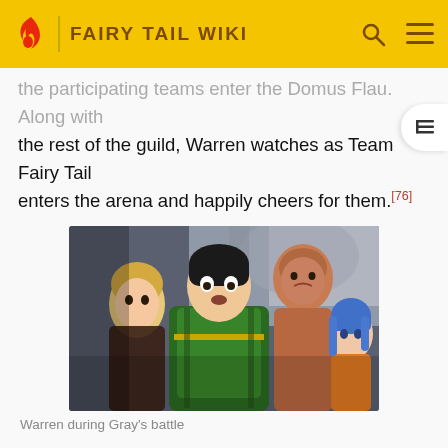FAIRY TAIL WIKI
the participating teams enter the Domus Flau. Along with the rest of the guild, Warren watches as Team Fairy Tail enters the arena and happily cheers for them.[76]
[Figure (photo): Anime screenshot showing Warren and other Fairy Tail guild members during Gray's battle. Characters visible include a blonde male, a dark-haired male in green armor, a large muscular male, and a blue-haired female.]
Warren during Gray's battle
When the final event begins, the entire audience and all of the participants are shocked to see that Team Fairy Tail is merely standing by and doing nothing. It is soon revealed that the Team Fairy Tail is acting according to Mavis' battle strategy, which proves to be very effective, as Fairy Tail climbs to the top of the rankings again, much to